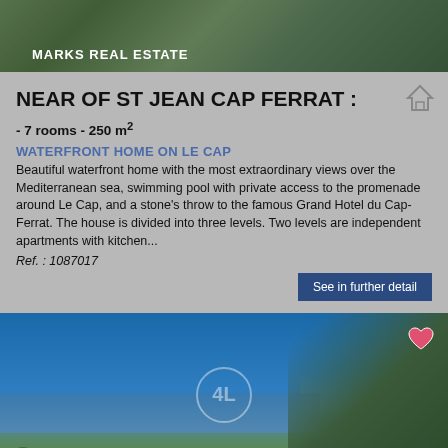[Figure (photo): Aerial or landscape photo of a property with green trees and foliage, with 'MARKS REAL ESTATE' label overlaid]
NEAR OF ST JEAN CAP FERRAT :
- 7 rooms - 250 m²
WATERFRONT HOME ON LE CAP
Beautiful waterfront home with the most extraordinary views over the Mediterranean sea, swimming pool with private access to the promenade around Le Cap, and a stone's throw to the famous Grand Hotel du Cap-Ferrat. The house is divided into three levels. Two levels are independent apartments with kitchen...
Ref. : 1087017
See in further detail
[Figure (photo): Coastal waterfront photo with blue Mediterranean sea and trees, with navigation arrows and heart/favorite icon, and circular logo watermark]